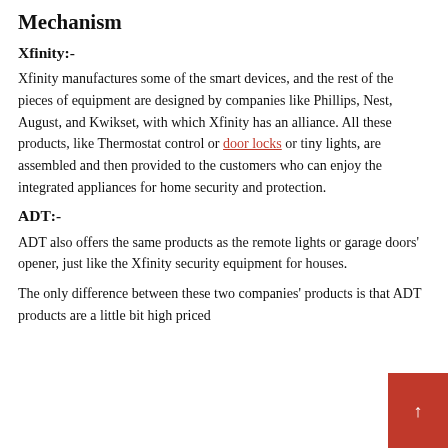Mechanism
Xfinity:-
Xfinity manufactures some of the smart devices, and the rest of the pieces of equipment are designed by companies like Phillips, Nest, August, and Kwikset, with which Xfinity has an alliance. All these products, like Thermostat control or door locks or tiny lights, are assembled and then provided to the customers who can enjoy the integrated appliances for home security and protection.
ADT:-
ADT also offers the same products as the remote lights or garage doors' opener, just like the Xfinity security equipment for houses.
The only difference between these two companies' products is that ADT products are a little bit high priced